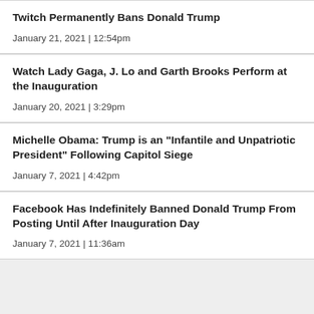Twitch Permanently Bans Donald Trump
January 21, 2021  |  12:54pm
Watch Lady Gaga, J. Lo and Garth Brooks Perform at the Inauguration
January 20, 2021  |  3:29pm
Michelle Obama: Trump is an "Infantile and Unpatriotic President" Following Capitol Siege
January 7, 2021  |  4:42pm
Facebook Has Indefinitely Banned Donald Trump From Posting Until After Inauguration Day
January 7, 2021  |  11:36am